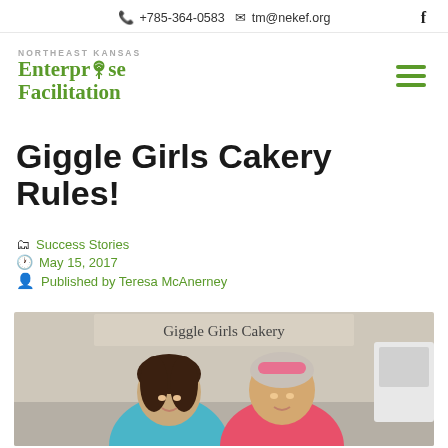+785-364-0583  tm@nekef.org  f
[Figure (logo): Northeast Kansas Enterprise Facilitation logo with green tree icon, and hamburger menu icon]
Giggle Girls Cakery Rules!
Success Stories
May 15, 2017
Published by Teresa McAnerney
[Figure (photo): Two young girls smiling in front of a Giggle Girls Cakery banner/sign]